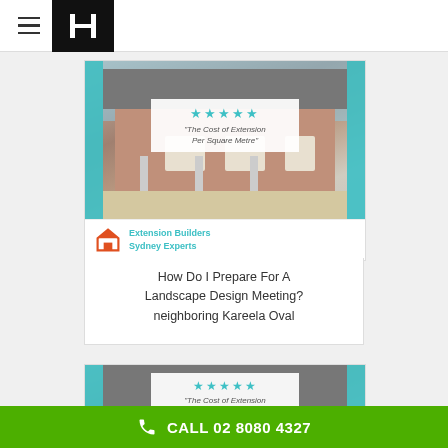Hometek — navigation header with logo
[Figure (photo): Building exterior photo with teal side accents, showing brick house with covered patio/extension. Review overlay: 5 stars, "The Cost of Extension Per Square Metre". Extension Builders Sydney Experts logo badge.]
How Do I Prepare For A Landscape Design Meeting? neighboring Kareela Oval
[Figure (photo): Second building exterior photo with teal side accents, similar brick house extension. Review overlay: 5 stars, "The Cost of Extension Per Square Metre".]
CALL 02 8080 4327